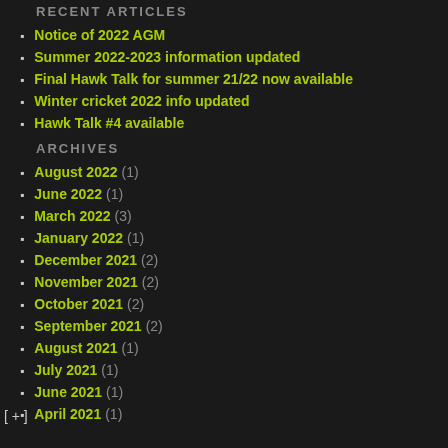RECENT ARTICLES
Notice of 2022 AGM
Summer 2022-2023 information updated
Final Hawk Talk for summer 21/22 now available
Winter cricket 2022 info updated
Hawk Talk #4 available
ARCHIVES
August 2022 (1)
June 2022 (1)
March 2022 (3)
January 2022 (1)
December 2021 (2)
November 2021 (2)
October 2021 (2)
September 2021 (2)
August 2021 (1)
July 2021 (1)
June 2021 (1)
April 2021 (1)